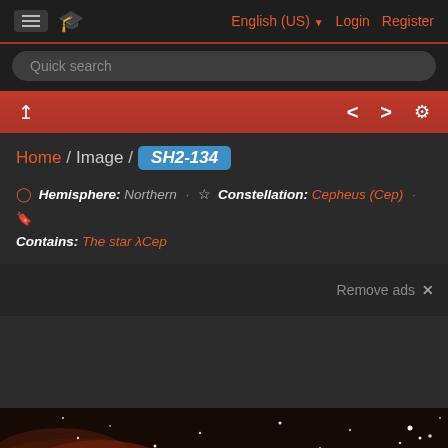English (US) Login Register
Quick search
Home / Image / SH2-134
Hemisphere: Northern · Constellation: Cepheus (Cep) · Contains: The star λCep
Remove ads ✕
[Figure (photo): Astronomical image of SH2-134 nebula showing reddish nebulosity and stars against dark sky]